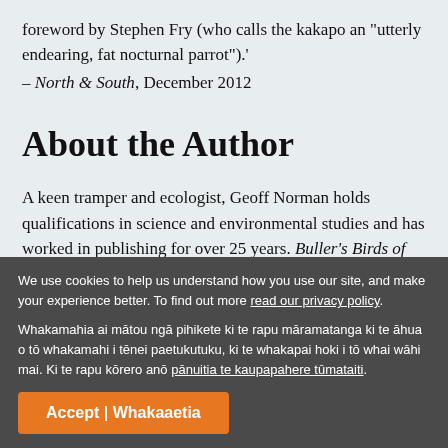foreword by Stephen Fry (who calls the kakapo an "utterly endearing, fat nocturnal parrot").'
– North & South, December 2012
About the Author
A keen tramper and ecologist, Geoff Norman holds qualifications in science and environmental studies and has worked in publishing for over 25 years. Buller's Birds of New Zealand: The Complete Work of JG Keulemans is his first full-length book.
We use cookies to help us understand how you use our site, and make your experience better. To find out more read our privacy policy.
Whakamahia ai mātou ngā pihikete ki te rapu māramatanga ki te āhua o tō whakamahi i tēnei paetukutuku, ki te whakapai hoki i tō whai wāhi mai. Ki te rapu kōrero anō pānuitia te kaupapahere tūmataiti.
Accept | Whakaaetia